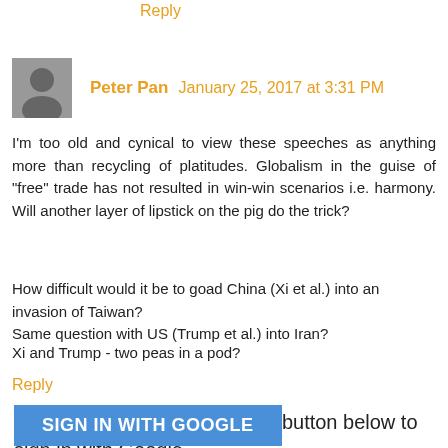Reply
Peter Pan   January 25, 2017 at 3:31 PM
I'm too old and cynical to view these speeches as anything more than recycling of platitudes. Globalism in the guise of "free" trade has not resulted in win-win scenarios i.e. harmony. Will another layer of lipstick on the pig do the trick?
How difficult would it be to goad China (Xi et al.) into an invasion of Taiwan?
Same question with US (Trump et al.) into Iran?
Xi and Trump - two peas in a pod?
Reply
To leave a comment, click the button below to sign in with Google.
SIGN IN WITH GOOGLE